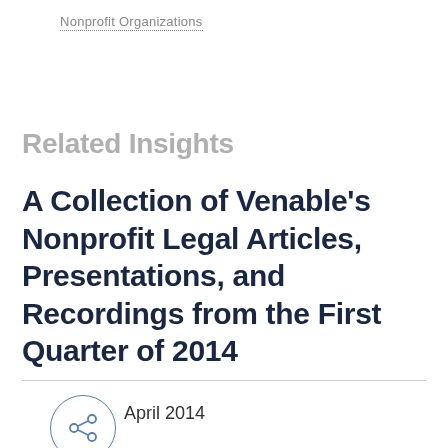Nonprofit Organizations
Related Insights
A Collection of Venable's Nonprofit Legal Articles, Presentations, and Recordings from the First Quarter of 2014
April 2014
6 min 3min